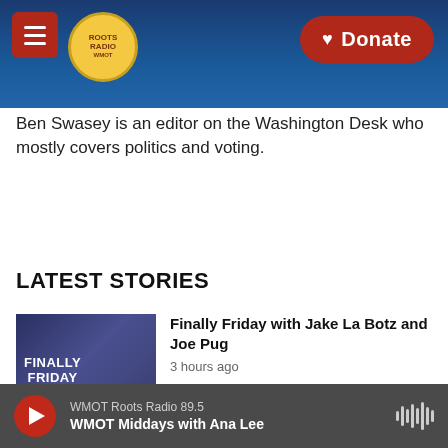WMOT Roots Radio — Donate
Ben Swasey is an editor on the Washington Desk who mostly covers politics and voting.
LATEST STORIES
[Figure (photo): Finally Friday show thumbnail with two artists, text 'FINALLY FRIDAY']
Finally Friday with Jake La Botz and Joe Pug
3 hours ago
[Figure (photo): Portrait photo of Tiffany Williams]
Eastern Kentucky Native Tiffany Williams Releases New Album, All…
WMOT Roots Radio 89.5 — WMOT Middays with Ana Lee